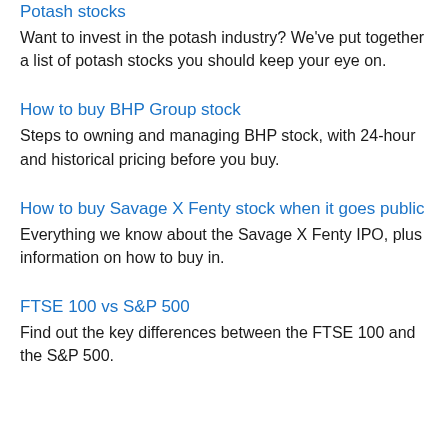Potash stocks
Want to invest in the potash industry? We've put together a list of potash stocks you should keep your eye on.
How to buy BHP Group stock
Steps to owning and managing BHP stock, with 24-hour and historical pricing before you buy.
How to buy Savage X Fenty stock when it goes public
Everything we know about the Savage X Fenty IPO, plus information on how to buy in.
FTSE 100 vs S&P 500
Find out the key differences between the FTSE 100 and the S&P 500.